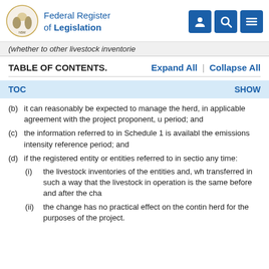Federal Register of Legislation
(whether to other livestock inventories
TABLE OF CONTENTS.
Expand All | Collapse All
TOC   SHOW
(b) it can reasonably be expected to manage the herd, in applicable agreement with the project proponent, u period; and
(c) the information referred to in Schedule 1 is available the emissions intensity reference period; and
(d) if the registered entity or entities referred to in sectio any time:
(i) the livestock inventories of the entities and, wh transferred in such a way that the livestock in operation is the same before and after the cha
(ii) the change has no practical effect on the contin herd for the purposes of the project.